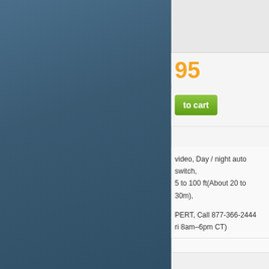[Figure (screenshot): Partial e-commerce product page screenshot. Left half shows a dark blue-grey sidebar/navigation panel. Right half shows product page content including price ending in '95' in orange, a green 'to cart' (Add to cart) button, product features text mentioning 'video, Day / night auto switch, 5 to 100 ft(About 20 to 30m), & DWDR & BLC', contact info 'PERT, Call 877-366-2444, ri 8am–6pm CT)', and a form area with 'iry' (inquiry) visible, along with a scroll-to-top button.]